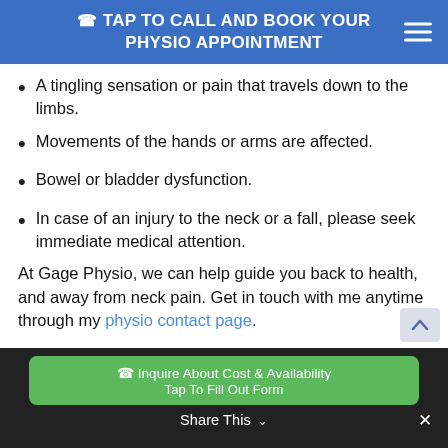TAP TO CALL AND BOOK YOUR PHYSIO APPOINTMENT
A tingling sensation or pain that travels down to the limbs.
Movements of the hands or arms are affected.
Bowel or bladder dysfunction.
In case of an injury to the neck or a fall, please seek immediate medical attention.
At Gage Physio, we can help guide you back to health, and away from neck pain. Get in touch with me anytime through my physio contact page.
Inquire About Cost & Availability
Tap To Fill Out Form
Share This